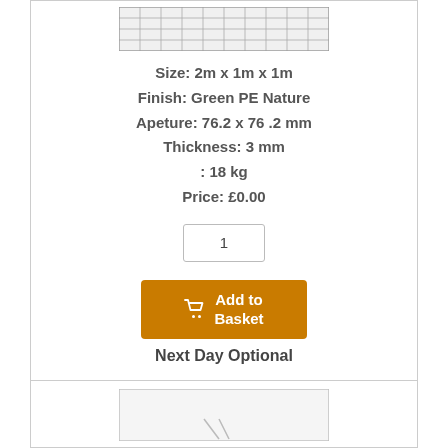[Figure (illustration): Wire mesh / grid panel product image shown partially at top of card]
Size: 2m x 1m x 1m
Finish: Green PE Nature
Apeture: 76.2 x 76 .2 mm
Thickness: 3 mm
: 18 kg
Price: £0.00
[Figure (other): Quantity input box showing value 1]
[Figure (other): Orange 'Add to Basket' button with shopping cart icon]
Next Day Optional
[Figure (other): Five gold star rating]
We do not export this product
[Figure (illustration): Second product card partial image at the bottom of the page]